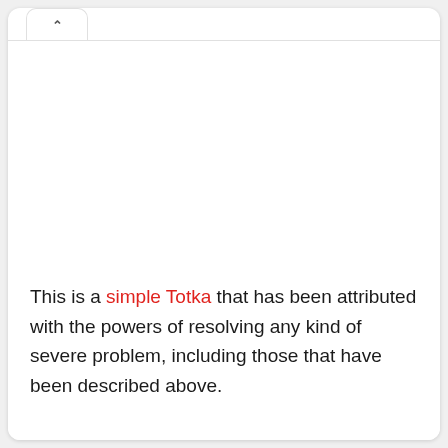This is a simple Totka that has been attributed with the powers of resolving any kind of severe problem, including those that have been described above.